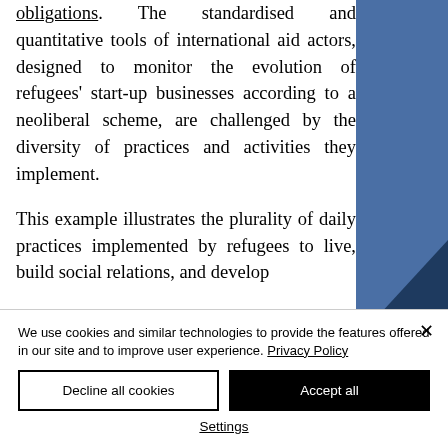obligations. The standardised and quantitative tools of international aid actors, designed to monitor the evolution of refugees' start-up businesses according to a neoliberal scheme, are challenged by the diversity of practices and activities they implement.

This example illustrates the plurality of daily practices implemented by refugees to live, build social relations, and develop
We use cookies and similar technologies to provide the features offered in our site and to improve user experience. Privacy Policy
Decline all cookies
Accept all
Settings